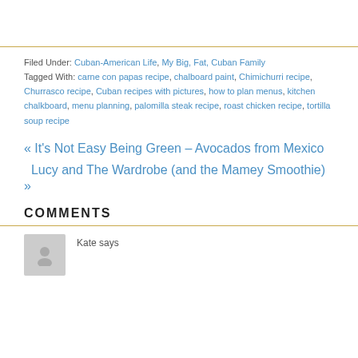Filed Under: Cuban-American Life, My Big, Fat, Cuban Family
Tagged With: carne con papas recipe, chalboard paint, Chimichurri recipe, Churrasco recipe, Cuban recipes with pictures, how to plan menus, kitchen chalkboard, menu planning, palomilla steak recipe, roast chicken recipe, tortilla soup recipe
« It's Not Easy Being Green – Avocados from Mexico
Lucy and The Wardrobe (and the Mamey Smoothie) »
COMMENTS
Kate says